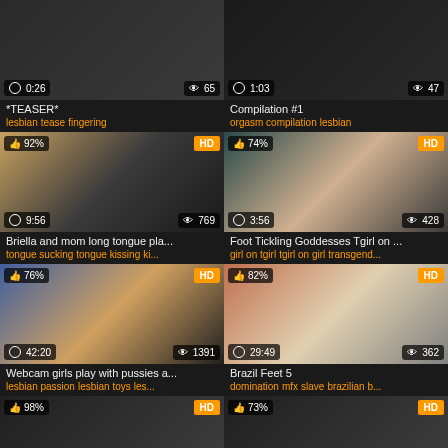[Figure (screenshot): Video thumbnail top-left with time 0:26 and 65 views, title *TEASER*, tags: lesbian tease fingering]
[Figure (screenshot): Video thumbnail top-right with time 1:03 and 47 views, title Compilation #1, tags: orgasm compilation lesbian]
[Figure (screenshot): Video thumbnail mid-left 92% HD, time 9:56, 769 views, title Briella and mom long tongue pla..., tags: tongue sucking tongue kissing ki...]
[Figure (screenshot): Video thumbnail mid-right 74% HD, time 3:56, 428 views, title Foot Tickling Goddesses Tgirl on ..., tags: girl on tgirl tgirl on girl transgend...]
[Figure (screenshot): Video thumbnail bot-left 76% HD, time 42:20, 1391 views, title Webcam girls play with pussies a..., tags: lesbian passion lesbian toys les...]
[Figure (screenshot): Video thumbnail bot-right 82% HD, time 29:49, 362 views, title Brazil Feet 5, tags: domination mfx slave brazilian b...]
[Figure (screenshot): Video thumbnail last-left 98% HD, partial]
[Figure (screenshot): Video thumbnail last-right 73% HD, partial]